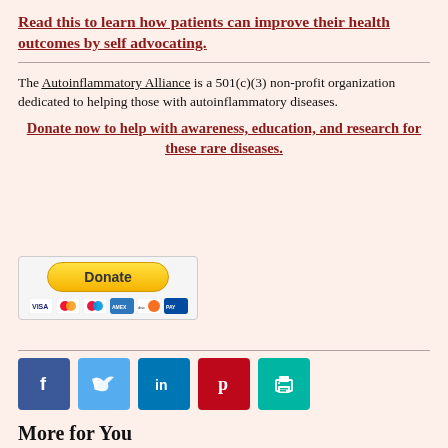Read this to learn how patients can improve their health outcomes by self advocating.
The Autoinflammatory Alliance is a 501(c)(3) non-profit organization dedicated to helping those with autoinflammatory diseases.
Donate now to help with awareness, education, and research for these rare diseases.
[Figure (other): PayPal donation button with credit card icons (Visa, Mastercard, Amex, Discover)]
[Figure (other): Social media sharing buttons: Facebook, Twitter, LinkedIn, Pinterest, Print]
More for You